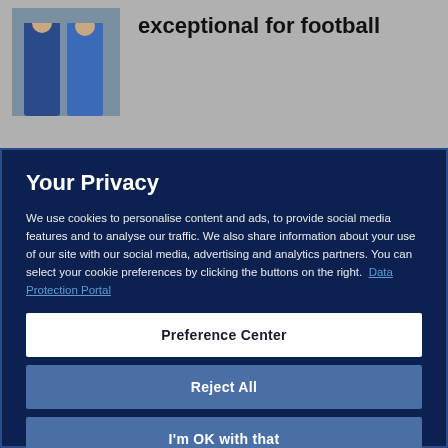[Figure (photo): Partial photo of two people wearing jerseys/casual clothing, cropped at top]
exceptional for football
Your Privacy
We use cookies to personalise content and ads, to provide social media features and to analyse our traffic. We also share information about your use of our site with our social media, advertising and analytics partners. You can select your cookie preferences by clicking the buttons on the right.  Data Protection Portal
Preference Center
Reject All
I'm OK with that